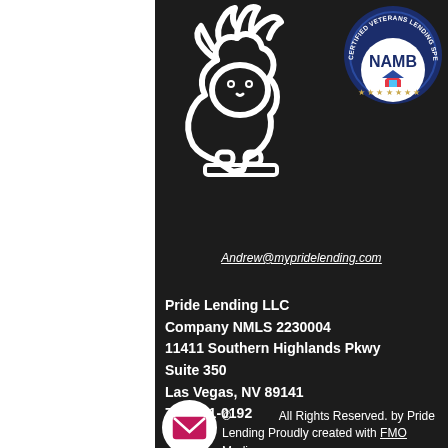[Figure (logo): Pride Lending lion logo - white outline of a lion on dark background]
[Figure (logo): NAMB Certified Veterans Lending Specialist circular badge with blue border and stars]
Andrew@mypridelending.com
Pride Lending LLC
Company NMLS 2230004
11411 Southern Highlands Pkwy
Suite 350
Las Vegas, NV 89141
725-231-0192
[Figure (logo): Pink email envelope icon in white circle]
© All Rights Reserved. by Pride Lending Proudly created with FMO Media